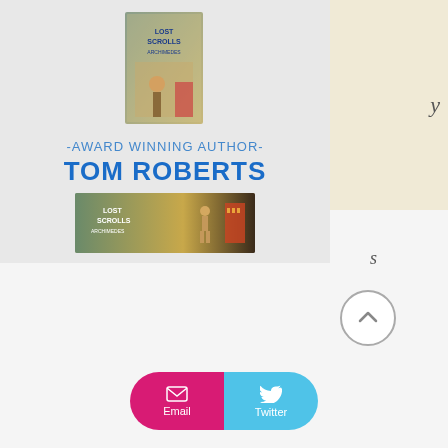[Figure (illustration): Book promotion banner for 'Lost Scrolls of Archimedes' by award-winning author Tom Roberts. Gray background with book cover image at top, text '-AWARD WINNING AUTHOR-' and 'TOM ROBERTS' in blue, and a movie-style wide banner at bottom.]
[Figure (illustration): Partial side panel with blue pixel/dot texture at top and cream/beige background with italic letter 'y' visible, and letter 's' below.]
[Figure (illustration): Circular up-arrow scroll button with gray border]
[Figure (infographic): Share buttons: pink Email button with envelope icon and blue Twitter button with bird icon, pill-shaped combined button]